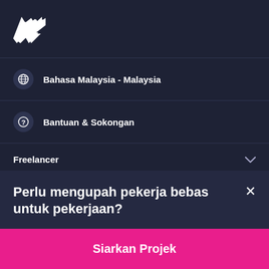[Figure (logo): Freelancer bird/lightning bolt logo in white]
Bahasa Malaysia - Malaysia
Bantuan & Sokongan
Freelancer
Perlu mengupah pekerja bebas untuk pekerjaan?
Siarkan Projek